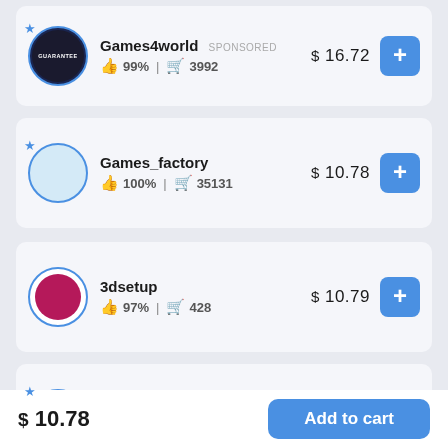Games4world SPONSORED 99% | 3992 $ 16.72
Games_factory 100% | 35131 $ 10.78
3dsetup 97% | 428 $ 10.79
Time4digi_com 99% | 2492 $ 10.92
$ 10.78
Add to cart